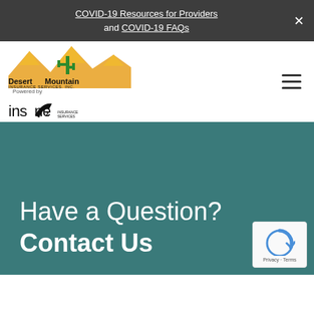COVID-19 Resources for Providers and COVID-19 FAQs
[Figure (logo): Desert Mountain Insurance Services, Inc. logo with mountains and cactus, Powered by Inszone Insurance Services logo]
Have a Question? Contact Us